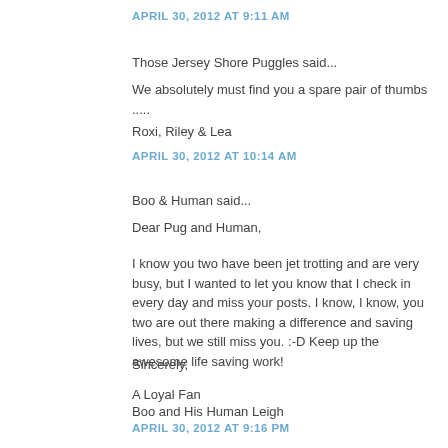APRIL 30, 2012 AT 9:11 AM
Those Jersey Shore Puggles said...
We absolutely must find you a spare pair of thumbs .....
Roxi, Riley & Lea
APRIL 30, 2012 AT 10:14 AM
Boo & Human said...
Dear Pug and Human,
I know you two have been jet trotting and are very busy, but I wanted to let you know that I check in every day and miss your posts. I know, I know, you two are out there making a difference and saving lives, but we still miss you. :-D Keep up the awesome life saving work!
Sincerely,
A Loyal Fan
Boo and His Human Leigh
APRIL 30, 2012 AT 9:16 PM
Eric said...